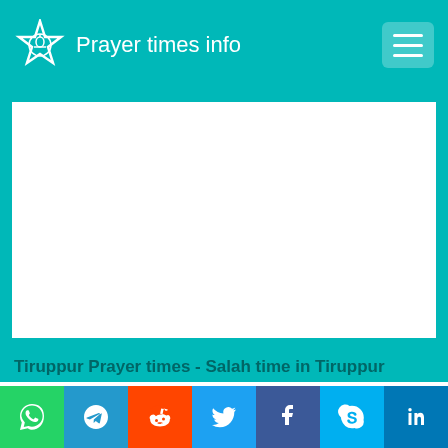Prayer times info
[Figure (other): Advertisement / blank white content area]
Tiruppur Prayer times - Salah time in Tiruppur